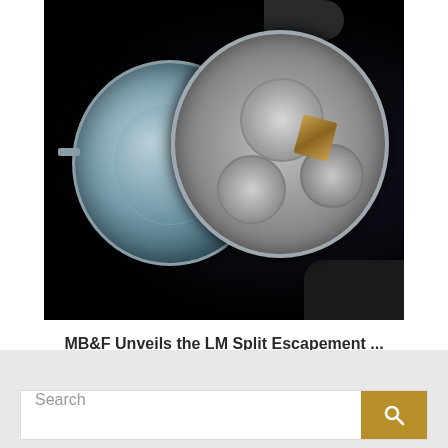[Figure (photo): Two luxury mechanical watches photographed against a black background. Left watch shows a skeleton dial with light blue/grey tones. Right watch shows exposed movement with gears, complications, and gold/copper colored mechanisms.]
MB&F Unveils the LM Split Escapement ...
Read the article
[Figure (other): Search bar with text input placeholder 'Search' and a gold/dark yellow search button with magnifying glass icon]